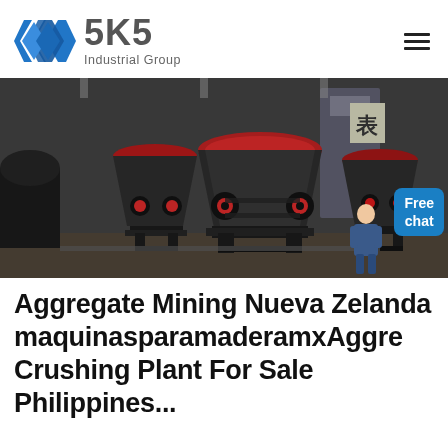[Figure (logo): SKS Industrial Group logo with blue diamond/arrow icon and gray text]
[Figure (photo): Industrial mining/crushing machines (cone crushers) lined up in a factory floor, dark gray and red machinery]
Aggregate Mining Nueva Zelanda maquinasparamaderamxAggregate Crushing Plant For Sale Philippines...